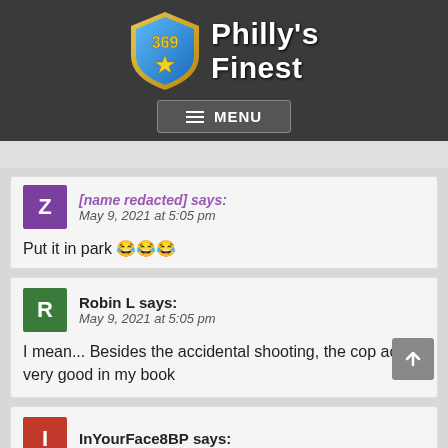Philly's Finest
Put it in park 😂😂😂
Robin L says:
May 9, 2021 at 5:05 pm
I mean... Besides the accidental shooting, the cop acted very good in my book
InYourFace8BP says: